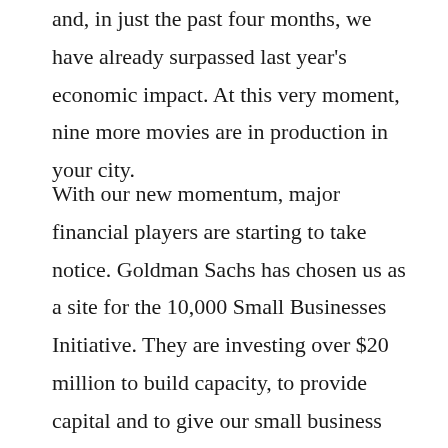and, in just the past four months, we have already surpassed last year's economic impact. At this very moment, nine more movies are in production in your city.
With our new momentum, major financial players are starting to take notice. Goldman Sachs has chosen us as a site for the 10,000 Small Businesses Initiative. They are investing over $20 million to build capacity, to provide capital and to give our small business owners world-class development training. And it is all happening in partnership with Delgado and the Urban